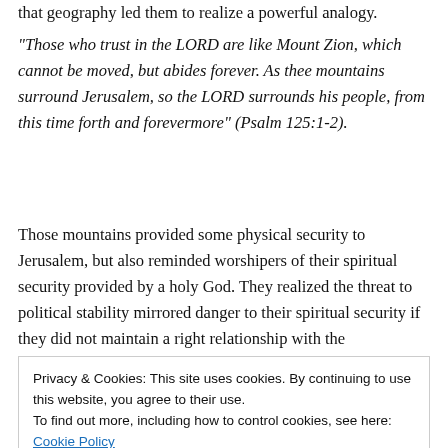that geography led them to realize a powerful analogy.
“Those who trust in the LORD are like Mount Zion, which cannot be moved, but abides forever. As thee mountains surround Jerusalem, so the LORD surrounds his people, from this time forth and forevermore” (Psalm 125:1-2).
Those mountains provided some physical security to Jerusalem, but also reminded worshipers of their spiritual security provided by a holy God. They realized the threat to political stability mirrored danger to their spiritual security if they did not maintain a right relationship with the
Privacy & Cookies: This site uses cookies. By continuing to use this website, you agree to their use.
To find out more, including how to control cookies, see here: Cookie Policy
Close and accept
religion, for infusing patriotism into personal religious faith